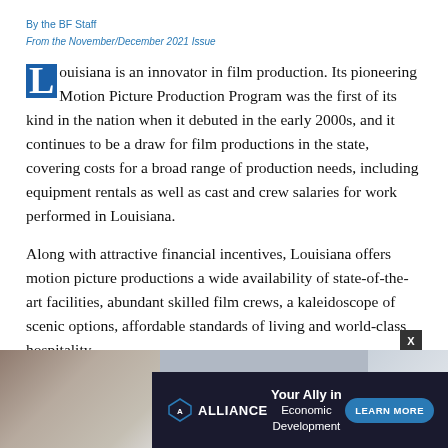By the BF Staff
From the November/December 2021 Issue
Louisiana is an innovator in film production. Its pioneering Motion Picture Production Program was the first of its kind in the nation when it debuted in the early 2000s, and it continues to be a draw for film productions in the state, covering costs for a broad range of production needs, including equipment rentals as well as cast and crew salaries for work performed in Louisiana.
Along with attractive financial incentives, Louisiana offers motion picture productions a wide availability of state-of-the-art facilities, abundant skilled film crews, a kaleidoscope of scenic options, affordable standards of living and world-class hospitality.
[Figure (infographic): Advertisement banner for Alliance Economic Development with dark background, logo on left, tagline 'Your Ally in Economic Development' in center, and 'LEARN MORE' button on right. Background shows a partial photo of a building/facility on the left side.]